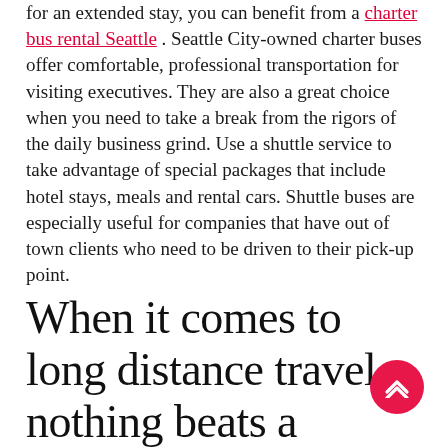for an extended stay, you can benefit from a charter bus rental Seattle . Seattle City-owned charter buses offer comfortable, professional transportation for visiting executives. They are also a great choice when you need to take a break from the rigors of the daily business grind. Use a shuttle service to take advantage of special packages that include hotel stays, meals and rental cars. Shuttle buses are especially useful for companies that have out of town clients who need to be driven to their pick-up point.
When it comes to long distance travel, nothing beats a Seattle Charter Bus
Most charter buses are stretch Hummers, so you can be assured they will get you to your destination on time. Most